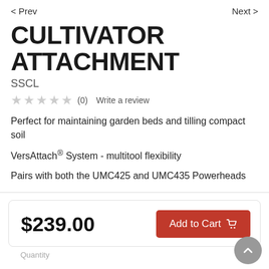< Prev    Next >
CULTIVATOR ATTACHMENT
SSCL
★★★★★ (0)  Write a review
Perfect for maintaining garden beds and tilling compact soil
VersAttach® System - multitool flexibility
Pairs with both the UMC425 and UMC435 Powerheads
$239.00
Add to Cart
Quantity